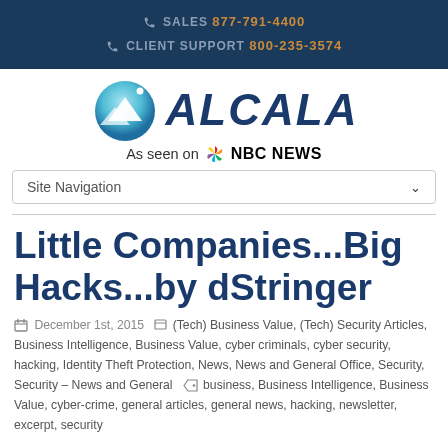SALES 877-791-4400 CLIENT SUPPORT 800-235-3574
[Figure (logo): Alcala company logo with teal mountain/wave symbol and text ALCALA in dark blue italic]
As seen on NBC NEWS
Site Navigation
Little Companies...Big Hacks...by dStringer
December 1st, 2015  (Tech) Business Value, (Tech) Security Articles, Business Intelligence, Business Value, cyber criminals, cyber security, hacking, Identity Theft Protection, News, News and General Office, Security, Security – News and General  business, Business Intelligence, Business Value, cyber-crime, general articles, general news, hacking, newsletter, excerpt, security